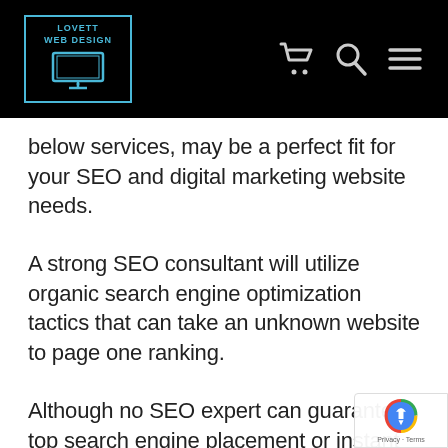Lovett Web Design — navigation header with logo, cart, search, and menu icons
below services, may be a perfect fit for your SEO and digital marketing website needs.
A strong SEO consultant will utilize organic search engine optimization tactics that can take an unknown website to page one ranking.
Although no SEO expert can guarantee top search engine placement or instant success,